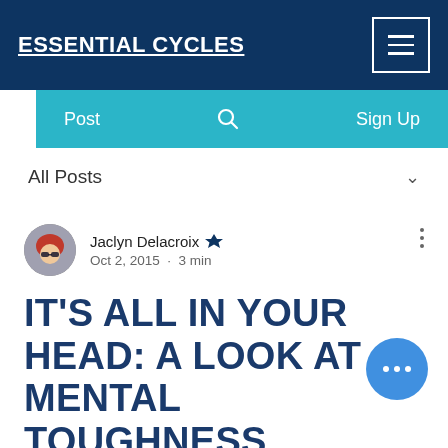ESSENTIAL CYCLES
Post    Sign Up
All Posts
Jaclyn Delacroix  Oct 2, 2015 · 3 min
IT'S ALL IN YOUR HEAD: A LOOK AT MENTAL TOUGHNESS
This article originally appeared in Issue 9